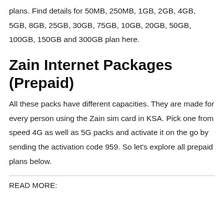plans. Find details for 50MB, 250MB, 1GB, 2GB, 4GB, 5GB, 8GB, 25GB, 30GB, 75GB, 10GB, 20GB, 50GB, 100GB, 150GB and 300GB plan here.
Zain Internet Packages (Prepaid)
All these packs have different capacities. They are made for every person using the Zain sim card in KSA. Pick one from speed 4G as well as 5G packs and activate it on the go by sending the activation code 959. So let's explore all prepaid plans below.
READ MORE: